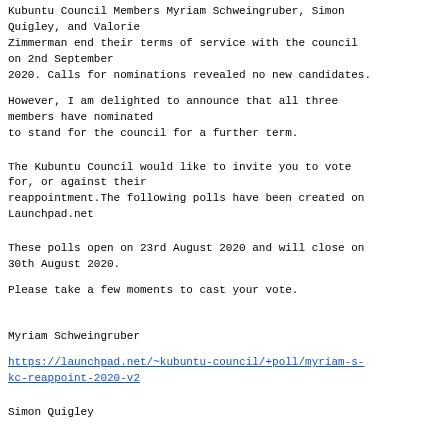Kubuntu Council Members Myriam Schweingruber, Simon Quigley, and Valorie Zimmerman end their terms of service with the council on 2nd September 2020. Calls for nominations revealed no new candidates.
However, I am delighted to announce that all three members have nominated to stand for the council for a further term.
The Kubuntu Council would like to invite you to vote for, or against their reappointment.The following polls have been created on Launchpad.net
These polls open on 23rd August 2020 and will close on 30th August 2020.
Please take a few moments to cast your vote.
Myriam Schweingruber
https://launchpad.net/~kubuntu-council/+poll/myriam-s-kc-reappoint-2020-v2
Simon Quigley